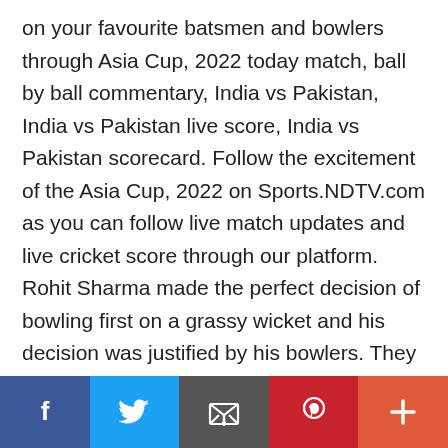on your favourite batsmen and bowlers through Asia Cup, 2022 today match, ball by ball commentary, India vs Pakistan, India vs Pakistan live score, India vs Pakistan scorecard. Follow the excitement of the Asia Cup, 2022 on Sports.NDTV.com as you can follow live match updates and live cricket score through our platform. Rohit Sharma made the perfect decision of bowling first on a grassy wicket and his decision was justified by his bowlers. They grabbed two scalps within the Powerplay and took control of the game. They made sure not to leak many runs in the middle phase and took wickets at regular intervals. Although they would be disappointed about how
Facebook | Twitter | Email | Pinterest | More